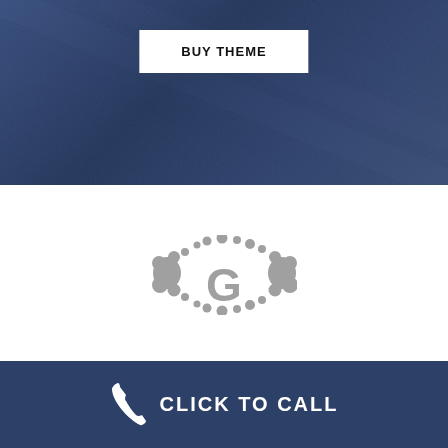[Figure (photo): Dark navy blue textured background hero image with fabric/cloth texture]
BUY THEME
[Figure (logo): Decorative G logo mark in gray with dot/bubble ornamental elements surrounding the letter G]
[Figure (other): Gold/tan square button with white upward chevron arrow for scroll to top]
CLICK TO CALL